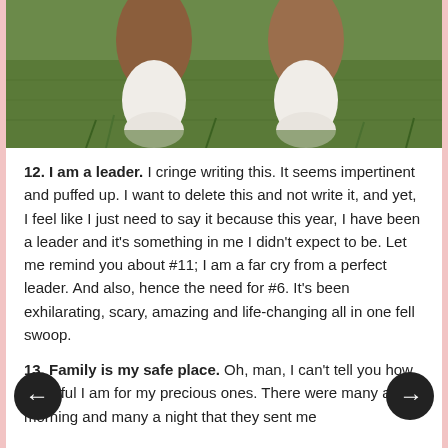[Figure (photo): Close-up photo of a dog's paws on green grass, showing brown and white fur legs]
12. I am a leader. I cringe writing this. It seems impertinent and puffed up. I want to delete this and not write it, and yet, I feel like I just need to say it because this year, I have been a leader and it's something in me I didn't expect to be. Let me remind you about #11; I am a far cry from a perfect leader. And also, hence the need for #6. It's been exhilarating, scary, amazing and life-changing all in one fell swoop.
13. Family is my safe place. Oh, man, I can't tell you how thankful I am for my precious ones. There were many a morning and many a night that they sent me